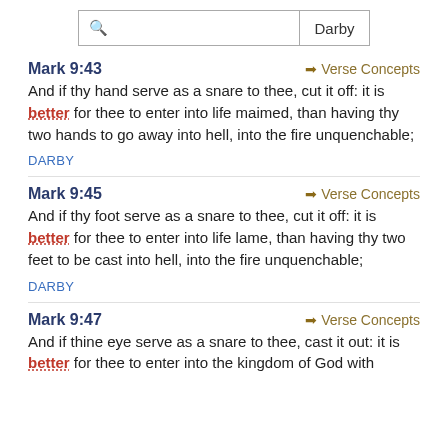[Figure (screenshot): Search bar with magnifying glass icon and 'Darby' label]
Mark 9:43
And if thy hand serve as a snare to thee, cut it off: it is better for thee to enter into life maimed, than having thy two hands to go away into hell, into the fire unquenchable;
DARBY
Mark 9:45
And if thy foot serve as a snare to thee, cut it off: it is better for thee to enter into life lame, than having thy two feet to be cast into hell, into the fire unquenchable;
DARBY
Mark 9:47
And if thine eye serve as a snare to thee, cast it out: it is better for thee to enter into the kingdom of God with